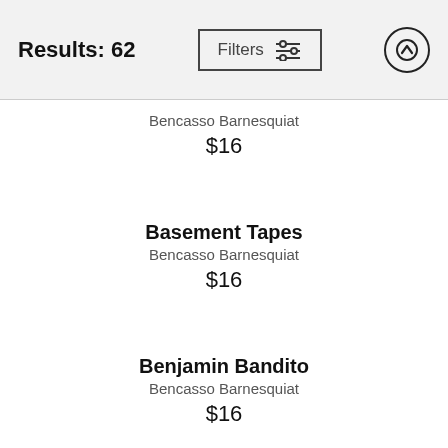Results: 62
Bencasso Barnesquiat
$16
Basement Tapes
Bencasso Barnesquiat
$16
Benjamin Bandito
Bencasso Barnesquiat
$16